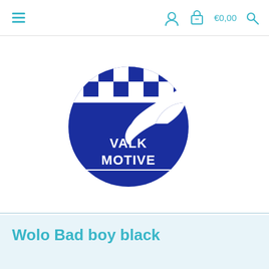≡  👤  🛒  €0,00  🔍
[Figure (logo): Valk Motive logo: dark blue circular emblem with checkered pattern and a bird (falcon) flying outward, text 'VALK MOTIVE' in white on dark blue rectangular banner]
Wolo Bad boy black
42,50 / €35,00